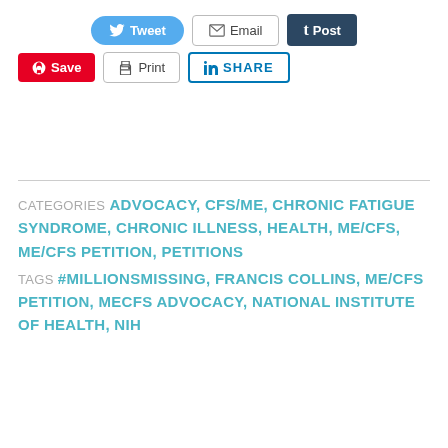[Figure (screenshot): Social sharing buttons row 1: Tweet (blue), Email (outlined), Post/Tumblr (dark navy)]
[Figure (screenshot): Social sharing buttons row 2: Save/Pinterest (red), Print (outlined), SHARE/LinkedIn (blue outlined)]
Loading...
CATEGORIES  ADVOCACY, CFS/ME, CHRONIC FATIGUE SYNDROME, CHRONIC ILLNESS, HEALTH, ME/CFS, ME/CFS PETITION, PETITIONS
TAGS  #MILLIONSMISSING, FRANCIS COLLINS, ME/CFS PETITION, MECFS ADVOCACY, NATIONAL INSTITUTE OF HEALTH, NIH